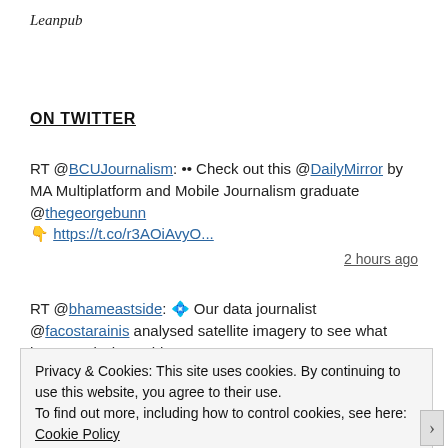Leanpub
ON TWITTER
RT @BCUJournalism: •• Check out this @DailyMirror by MA Multiplatform and Mobile Journalism graduate @thegeorgebunn 👇 https://t.co/r3AOiAvyO...
2 hours ago
RT @bhameastside: 💠 Our data journalist @facostarainis analysed satellite imagery to see what happened when China
Privacy & Cookies: This site uses cookies. By continuing to use this website, you agree to their use.
To find out more, including how to control cookies, see here: Cookie Policy
Close and accept